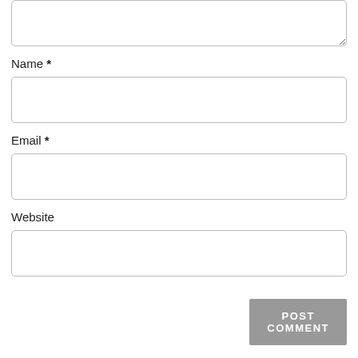[Figure (screenshot): Partial textarea input box at the top of the page, showing a comment text area with resize handle]
Name *
[Figure (screenshot): Empty text input field for Name]
Email *
[Figure (screenshot): Empty text input field for Email]
Website
[Figure (screenshot): Empty text input field for Website]
POST COMMENT